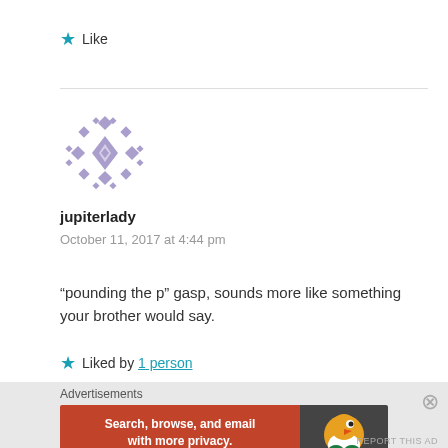Like
[Figure (illustration): Purple geometric/diamond pattern avatar icon for user jupiterlady]
jupiterlady
October 11, 2017 at 4:44 pm
“pounding the p” gasp, sounds more like something your brother would say.
Liked by 1 person
Advertisements
[Figure (screenshot): DuckDuckGo advertisement banner: orange left side with text 'Search, browse, and email with more privacy. All in One Free App', dark right side with DuckDuckGo duck logo]